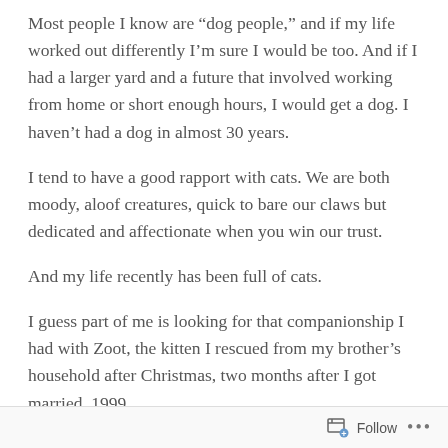Most people I know are “dog people,” and if my life worked out differently I’m sure I would be too. And if I had a larger yard and a future that involved working from home or short enough hours, I would get a dog. I haven’t had a dog in almost 30 years.
I tend to have a good rapport with cats. We are both moody, aloof creatures, quick to bare our claws but dedicated and affectionate when you win our trust.
And my life recently has been full of cats.
I guess part of me is looking for that companionship I had with Zoot, the kitten I rescued from my brother’s household after Christmas, two months after I got married. 1999.
Follow ...